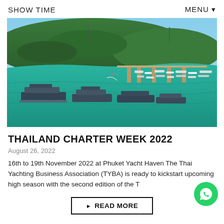SHOW TIME   MENU ▾
[Figure (photo): Aerial view of a marina with luxury yachts docked at Phuket Yacht Haven, surrounded by turquoise water and a lush green hillside.]
THAILAND CHARTER WEEK 2022
August 26, 2022
16th to 19th November 2022 at Phuket Yacht Haven The Thai Yachting Business Association (TYBA) is ready to kickstart upcoming high season with the second edition of the T
READ MORE